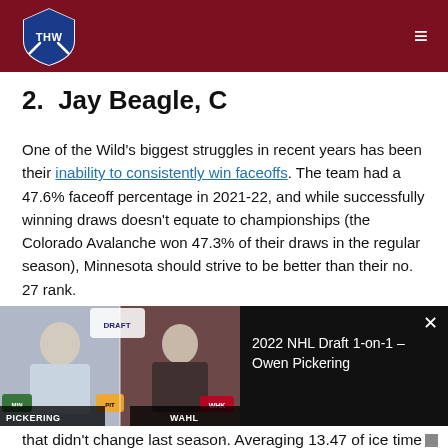THW - The Hockey Writers
2. Jay Beagle, C
One of the Wild's biggest struggles in recent years has been their inability to consistently win faceoffs. The team had a 47.6% faceoff percentage in 2021-22, and while successfully winning draws doesn't equate to championships (the Colorado Avalanche won 47.3% of their draws in the regular season), Minnesota should strive to be better than their no. 27 rank.
[Figure (screenshot): Video thumbnail showing two people in a split-screen interview format with 'PICKERING' and 'WAHL' labels, overlaid with a black panel showing title '2022 NHL Draft 1-on-1 – Owen Pickering' and a close button.]
that didn't change last season. Averaging 13.47 of ice time